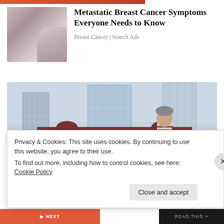[Figure (photo): Top colored bar strip at top of page]
[Figure (photo): Ad thumbnail photo of person touching chest area, blurred close-up in warm grey-pink tones]
Metastatic Breast Cancer Symptoms Everyone Needs to Know
Breast Cancer | Search Ads
[Figure (photo): Photo of young man in striped sweater and knit cap standing with a scooter in front of Tokyo Station with modern skyscrapers in background]
Privacy & Cookies: This site uses cookies. By continuing to use this website, you agree to their use.
To find out more, including how to control cookies, see here: Cookie Policy
Close and accept